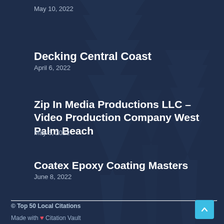May 10, 2022
Decking Central Coast
April 6, 2022
Zip In Media Productions LLC – Video Production Company West Palm Beach
May 6, 2022
Coatex Epoxy Coating Masters
June 8, 2022
© Top 50 Local Citations
Made with ❤ Citation Vault